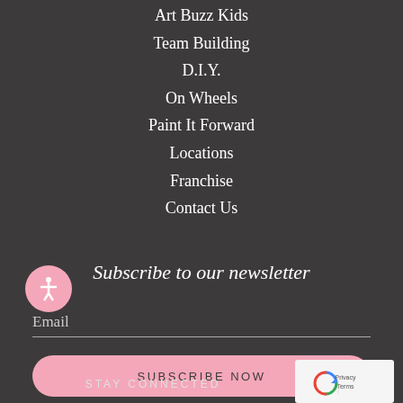Art Buzz Kids
Team Building
D.I.Y.
On Wheels
Paint It Forward
Locations
Franchise
Contact Us
Subscribe to our newsletter
Email
SUBSCRIBE NOW
STAY CONNECTED